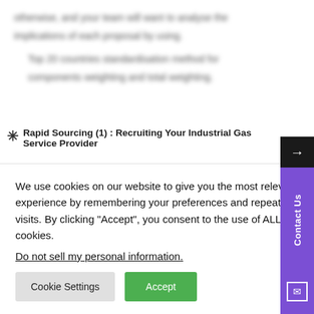otherwise, and your team will want to analyse the implications of each proposal by using.
Top 20 countries standardisation method for
components weighting and total weighting.
Rapid Sourcing (1) : Recruiting Your Industrial Gas Service Provider
[Figure (flowchart): Flowchart showing process steps: Develop, Develop RFP, with arrow connectors and an illustration]
We use cookies on our website to give you the most relevant experience by remembering your preferences and repeat visits. By clicking “Accept”, you consent to the use of ALL the cookies.
Do not sell my personal information.
Cookie Settings
Accept